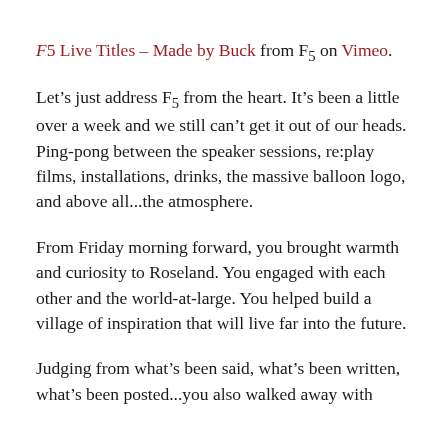F5 Live Titles – Made by Buck from F5 on Vimeo.
Let’s just address F5 from the heart. It’s been a little over a week and we still can’t get it out of our heads. Ping-pong between the speaker sessions, re:play films, installations, drinks, the massive balloon logo, and above all...the atmosphere.
From Friday morning forward, you brought warmth and curiosity to Roseland. You engaged with each other and the world-at-large. You helped build a village of inspiration that will live far into the future.
Judging from what’s been said, what’s been written, what’s been posted...you also walked away with